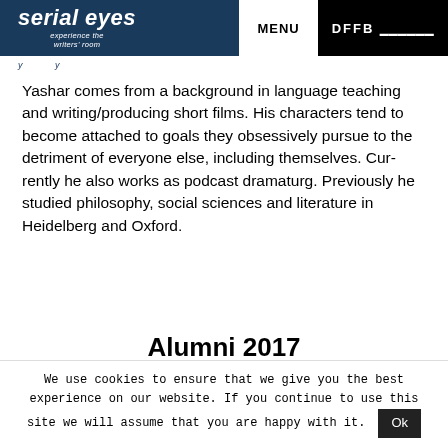serial eyes — experience the writers' room | MENU | DFFB
Yashar comes from a background in language teaching and writing/producing short films. His characters tend to become attached to goals they obsessively pursue to the detriment of everyone else, including themselves. Currently he also works as podcast dramaturg. Previously he studied philosophy, social sciences and literature in Heidelberg and Oxford.
Alumni 2017
We use cookies to ensure that we give you the best experience on our website. If you continue to use this site we will assume that you are happy with it. Ok